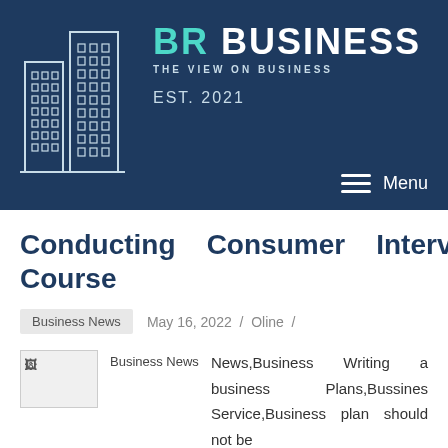[Figure (logo): BR Business logo with building illustration and tagline 'The View on Business', EST. 2021]
Conducting Consumer Interviews Course
Business News  May 16, 2022 / Oline /
Business News,Business Writing a business Plans,Bussines Service,Business plan should not be